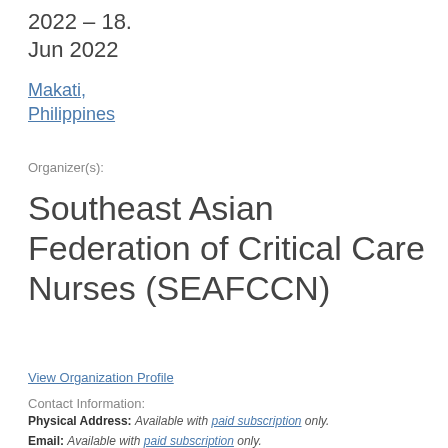2022 – 18. Jun 2022
Makati, Philippines
Organizer(s):
Southeast Asian Federation of Critical Care Nurses (SEAFCCN)
View Organization Profile
Contact Information:
Physical Address: Available with paid subscription only.
Email: Available with paid subscription only.